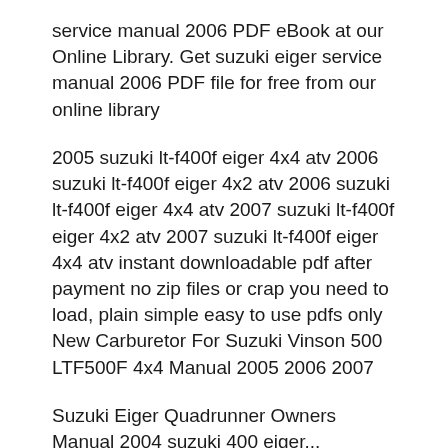service manual 2006 PDF eBook at our Online Library. Get suzuki eiger service manual 2006 PDF file for free from our online library
2005 suzuki lt-f400f eiger 4x4 atv 2006 suzuki lt-f400f eiger 4x2 atv 2006 suzuki lt-f400f eiger 4x4 atv 2007 suzuki lt-f400f eiger 4x2 atv 2007 suzuki lt-f400f eiger 4x4 atv instant downloadable pdf after payment no zip files or crap you need to load, plain simple easy to use pdfs only New Carburetor For Suzuki Vinson 500 LTF500F 4x4 Manual 2005 2006 2007
Suzuki Eiger Quadrunner Owners Manual 2004 suzuki 400 eiger...